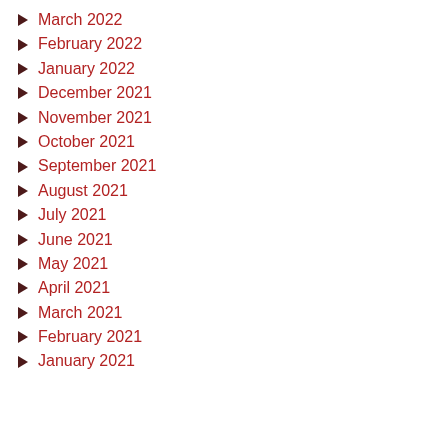March 2022
February 2022
January 2022
December 2021
November 2021
October 2021
September 2021
August 2021
July 2021
June 2021
May 2021
April 2021
March 2021
February 2021
January 2021